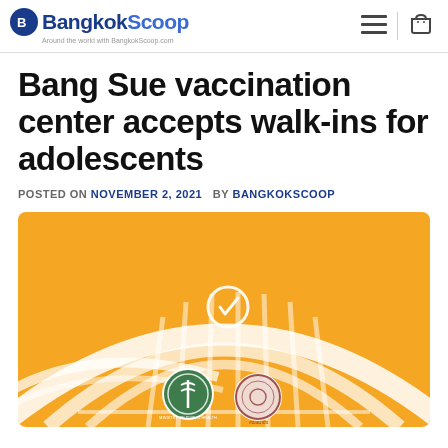BangkokScoop - Around the world with BangkokScoop.com
Bang Sue vaccination center accepts walk-ins for adolescents
POSTED ON NOVEMBER 2, 2021  BY BANGKOKSCOOP
[Figure (illustration): Illustration of Bang Sue Grand Station with orange background, showing the iconic arched roof structure of the station with a checkmark clock symbol, and two official seals: Ministry of Public Health Thailand and another government seal.]